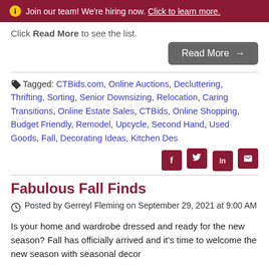ℹ Join our team! We're hiring now. Click to learn more.
Click Read More to see the list.
Read More →
Tagged: CTBids.com, Online Auctions, Decluttering, Thrifting, Sorting, Senior Downsizing, Relocation, Caring Transitions, Online Estate Sales, CTBids, Online Shopping, Budget Friendly, Remodel, Upcycle, Second Hand, Used Goods, Fall, Decorating Ideas, Kitchen Des
Fabulous Fall Finds
Posted by Gerreyl Fleming on September 29, 2021 at 9:00 AM
Is your home and wardrobe dressed and ready for the new season? Fall has officially arrived and it's time to welcome the new season with seasonal decor